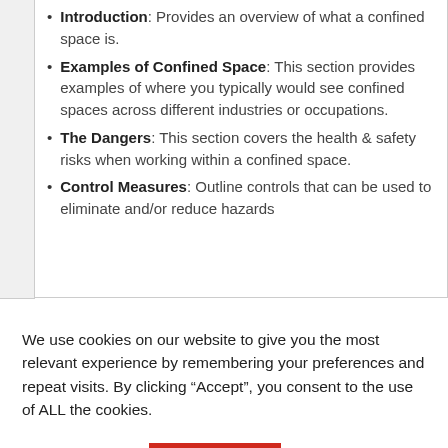Introduction: Provides an overview of what a confined space is.
Examples of Confined Space: This section provides examples of where you typically would see confined spaces across different industries or occupations.
The Dangers: This section covers the health & safety risks when working within a confined space.
Control Measures: Outline controls that can be used to eliminate and/or reduce hazards
We use cookies on our website to give you the most relevant experience by remembering your preferences and repeat visits. By clicking “Accept”, you consent to the use of ALL the cookies.